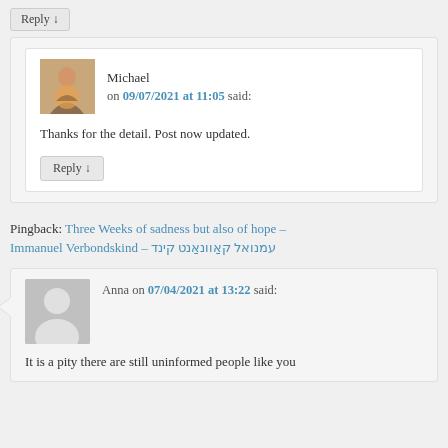Reply ↓
Michael on 09/07/2021 at 11:05 said:
Thanks for the detail. Post now updated.
Reply ↓
Pingback: Three Weeks of sadness but also of hope – Immanuel Verbondskind – עמנואל קאַוונאַנט קינד
Anna on 07/04/2021 at 13:22 said:
It is a pity there are still uninformed people like you